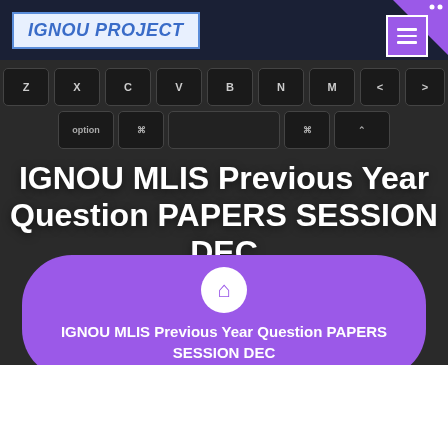IGNOU PROJECT
[Figure (screenshot): Keyboard background image with dark keys showing Z X C V B N M row]
IGNOU MLIS Previous Year Question PAPERS SESSION DEC
IGNOU MLIS Previous Year Question PAPERS SESSION DEC